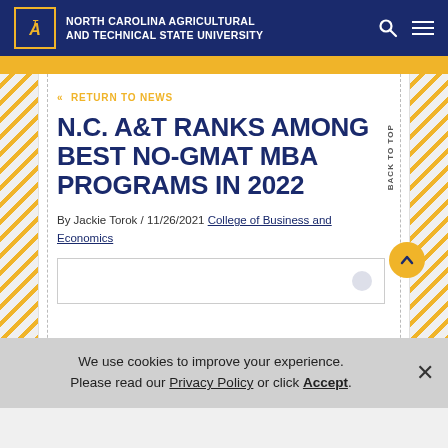North Carolina Agricultural and Technical State University
« RETURN TO NEWS
N.C. A&T RANKS AMONG BEST NO-GMAT MBA PROGRAMS IN 2022
By Jackie Torok / 11/26/2021 College of Business and Economics
We use cookies to improve your experience. Please read our Privacy Policy or click Accept.
Newsroom Menu